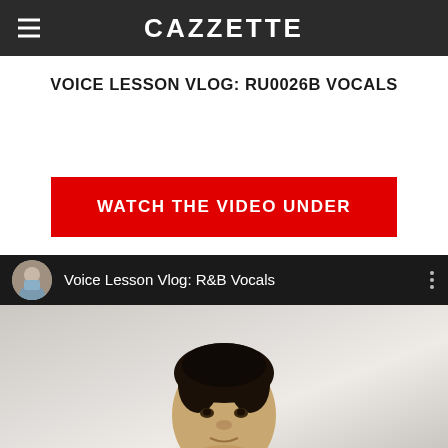CAZZETTE
VOICE LESSON VLOG: RU0026B VOCALS
WATCH THE VIDEO UNDER
[Figure (screenshot): YouTube embedded video player showing 'Voice Lesson Vlog: R&B Vocals' with a channel avatar, video title, three-dot menu, and a thumbnail showing a close-up of a man's face against a light background.]